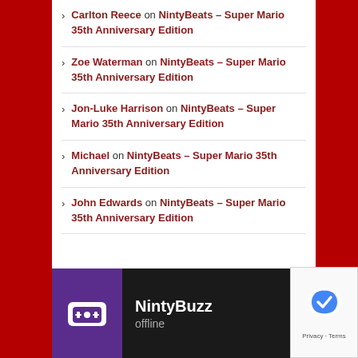Carlton Reece on NintyBeats – Super Mario 35th Anniversary Edition
Zoe Waterman on NintyBeats – Super Mario 35th Anniversary Edition
Jon-Luke Harrison on NintyBeats – Super Mario 35th Anniversary Edition
Michael on NintyBeats – Super Mario 35th Anniversary Edition
John Edwards on NintyBeats – Super Mario 35th Anniversary Edition
[Figure (screenshot): NintyBuzz chat widget with purple icon showing a game controller, name 'NintyBuzz', status 'offline' on dark background]
[Figure (logo): reCAPTCHA logo with Privacy and Terms link]